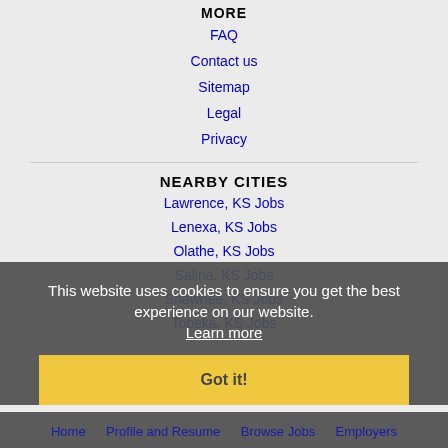MORE
FAQ
Contact us
Sitemap
Legal
Privacy
NEARBY CITIES
Lawrence, KS Jobs
Lenexa, KS Jobs
Olathe, KS Jobs
Salina, KS Jobs
Shawnee, KS Jobs
Topeka, KS Jobs
This website uses cookies to ensure you get the best experience on our website.
Learn more
Got it!
Home   Profile and Resume   Browse Jobs   Employers